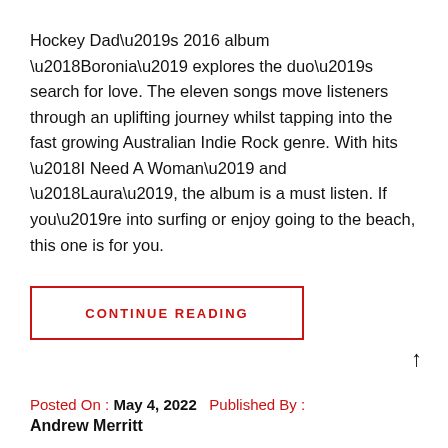Hockey Dad’s 2016 album ‘Boronia’ explores the duo’s search for love. The eleven songs move listeners through an uplifting journey whilst tapping into the fast growing Australian Indie Rock genre. With hits ‘I Need A Woman’ and ‘Laura’, the album is a must listen. If you’re into surfing or enjoy going to the beach, this one is for you.
CONTINUE READING
Posted On : May 4, 2022   Published By : Andrew Merritt